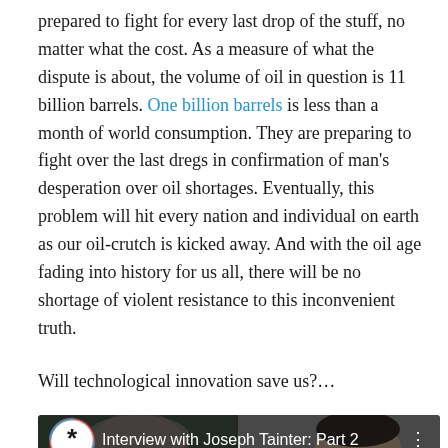prepared to fight for every last drop of the stuff, no matter what the cost. As a measure of what the dispute is about, the volume of oil in question is 11 billion barrels. One billion barrels is less than a month of world consumption. They are preparing to fight over the last dregs in confirmation of man's desperation over oil shortages. Eventually, this problem will hit every nation and individual on earth as our oil-crutch is kicked away. And with the oil age fading into history for us all, there will be no shortage of violent resistance to this inconvenient truth.
Will technological innovation save us?…
[Figure (screenshot): YouTube video thumbnail showing two men in an interview setting, with a play icon and the title 'Interview with Joseph Tainter: Part 2']